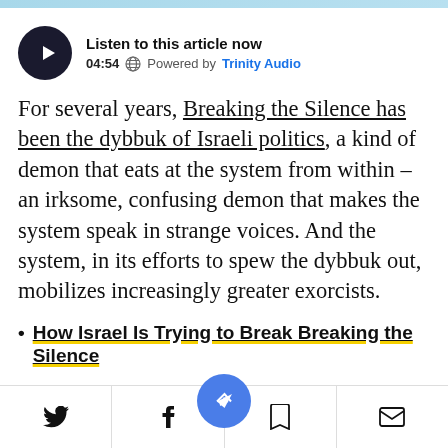[Figure (screenshot): Audio player widget with play button, duration 04:54, Powered by Trinity Audio]
For several years, Breaking the Silence has been the dybbuk of Israeli politics, a kind of demon that eats at the system from within – an irksome, confusing demon that makes the system speak in strange voices. And the system, in its efforts to spew the dybbuk out, mobilizes increasingly greater exorcists.
How Israel Is Trying to Break Breaking the Silence
Twitter, Facebook, Newsbreak, Bookmark, Mail icons